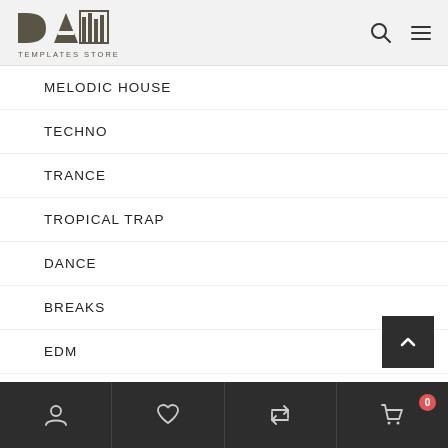DAW Templates Store
MELODIC HOUSE
TECHNO
TRANCE
TROPICAL TRAP
DANCE
BREAKS
EDM
Account | Wishlist | Repeat | Cart (0)